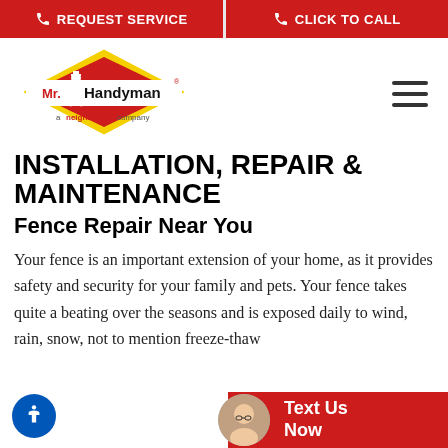REQUEST SERVICE | CLICK TO CALL
[Figure (logo): Mr. Handyman logo - red diamond shape with yellow border, man figure, text 'Mr. Handyman' and 'a neighborly company']
INSTALLATION, REPAIR & MAINTENANCE
Fence Repair Near You
Your fence is an important extension of your home, as it provides safety and security for your family and pets. Your fence takes quite a beating over the seasons and is exposed daily to wind, rain, snow, not to mention freeze-thaw